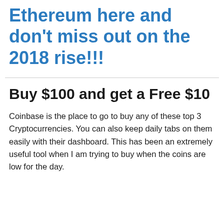Ethereum here and don't miss out on the 2018 rise!!!
Buy $100 and get a Free $10
Coinbase is the place to go to buy any of these top 3 Cryptocurrencies. You can also keep daily tabs on them easily with their dashboard. This has been an extremely useful tool when I am trying to buy when the coins are low for the day.